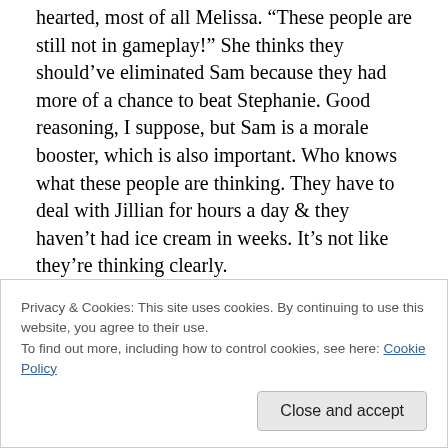hearted, most of all Melissa. “These people are still not in gameplay!” She thinks they should’ve eliminated Sam because they had more of a chance to beat Stephanie. Good reasoning, I suppose, but Sam is a morale booster, which is also important. Who knows what these people are thinking. They have to deal with Jillian for hours a day & they haven’t had ice cream in weeks. It’s not like they’re thinking clearly.
Everyone meets in the gym. Ali says that the first person to lose 2% of their body weight wins immunity. There’s a
Privacy & Cookies: This site uses cookies. By continuing to use this website, you agree to their use.
To find out more, including how to control cookies, see here: Cookie Policy
Close and accept
at immunity. Only one person can win